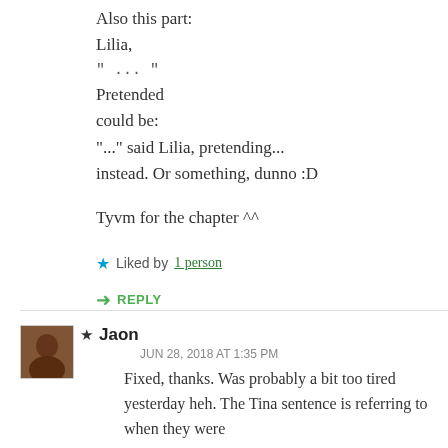Also this part:
Lilia,
" ... "
Pretended
could be:
"..." said Lilia, pretending...
instead. Or something, dunno :D

Tyvm for the chapter ^^
Liked by 1 person
REPLY
★ Jaon
JUN 28, 2018 AT 1:35 PM
Fixed, thanks. Was probably a bit too tired yesterday heh. The Tina sentence is referring to when they were